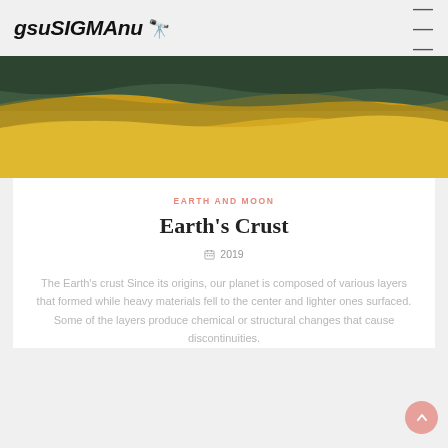gsuSIGMAnu 🔭
[Figure (photo): Close-up photograph of Earth's geological layers showing dark green rock layer above a golden/amber sedimentary layer, representing cross-section of Earth's crust]
EARTH AND MOON
Earth's Crust
📅 2019
The Earth's crust Since its origins, our planet is composed of various layers that formed while heavy materials fell to the center and lighter ones surfaced. Some of the layers produce chemical or structural changes that cause discontinuities.